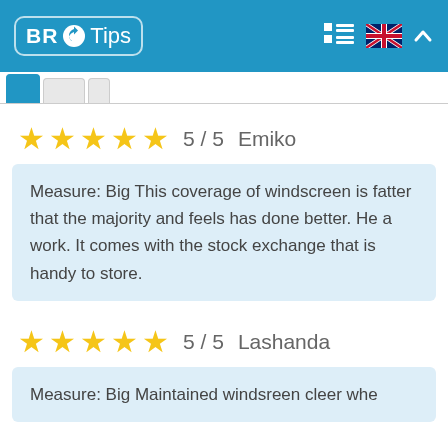BR Tips
5 / 5   Emiko
Measure: Big This coverage of windscreen is fatter that the majority and feels has done better. He a work. It comes with the stock exchange that is handy to store.
5 / 5   Lashanda
Measure: Big Maintained windsreen cleer whe